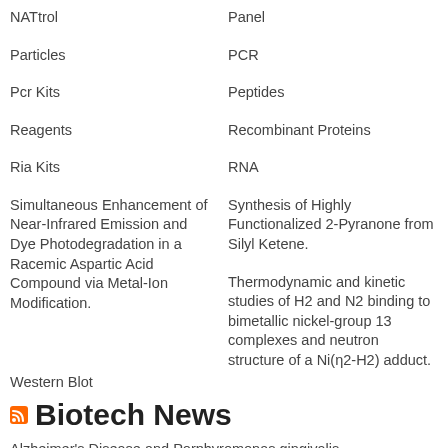NATtrol
Panel
Particles
PCR
Pcr Kits
Peptides
Reagents
Recombinant Proteins
Ria Kits
RNA
Simultaneous Enhancement of Near-Infrared Emission and Dye Photodegradation in a Racemic Aspartic Acid Compound via Metal-Ion Modification.
Synthesis of Highly Functionalized 2-Pyranone from Silyl Ketene.
Thermodynamic and kinetic studies of H2 and N2 binding to bimetallic nickel-group 13 complexes and neutron structure of a Ni(η2-H2) adduct.
Western Blot
Biotech News
Alzheimer's Disease and Porphyromonas gingivalis
Superbugs and Antibiotic Alternatives: New and Accidental Discoveries